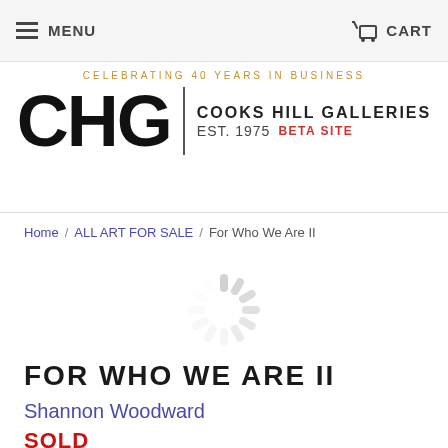MENU   CART
[Figure (logo): CHG Cooks Hill Galleries logo with 'CELEBRATING 40 YEARS IN BUSINESS' tagline, EST. 1975, BETA SITE]
Home / ALL ART FOR SALE / For Who We Are II
[Figure (other): Loading spinner (circular dashed spinner graphic)]
FOR WHO WE ARE II
Shannon Woodward
SOLD